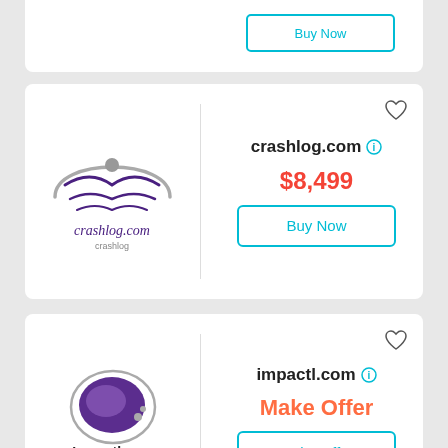[Figure (logo): Partial top card with Buy Now button visible at top of page]
[Figure (logo): crashlog.com logo: stylized figure with wings inside circular arc, script text reading crashlog.com]
crashlog.com
$8,499
Buy Now
[Figure (logo): impactl.com logo: purple teardrop/speech bubble shape with dots, text reading impactl.com]
impactl.com
Make Offer
Make Offer
[Figure (logo): Partial card at bottom showing motorc***lawyer.com with fork/knife/building icons]
motorc***lawyer.com